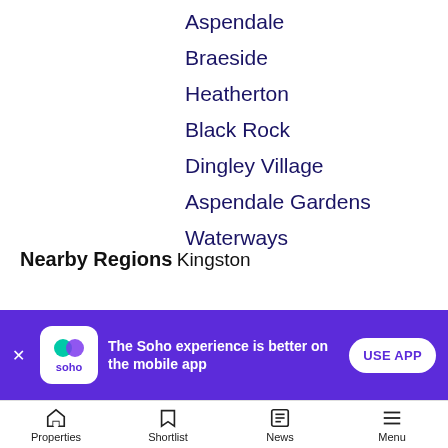Aspendale
Braeside
Heatherton
Black Rock
Dingley Village
Aspendale Gardens
Waterways
Nearby Regions
Kingston
The Soho experience is better on the mobile app
Properties  Shortlist  News  Menu